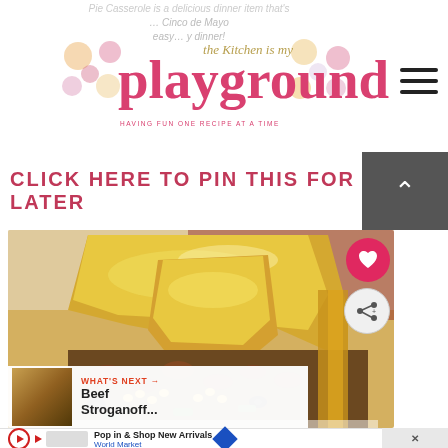The kitchen is my playground
CLICK HERE TO PIN THIS FOR LATER
[Figure (photo): Close-up photo of a tamale pie casserole slice being lifted, showing a golden cornbread topping over a filling of ground meat, corn, black olives, and green vegetables in a white baking dish.]
WHAT'S NEXT → Beef Stroganoff...
Pop in & Shop New Arrivals World Market